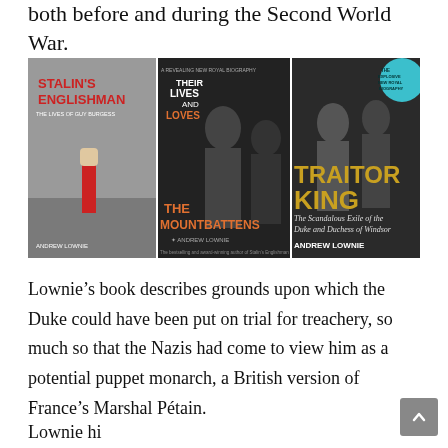both before and during the Second World War.
[Figure (photo): Three book covers by Andrew Lownie: Stalin's Englishman (The Lives of Guy Burgess), Their Lives and Loves: The Mountbattens, and Traitor King: The Scandalous Exile of the Duke and Duchess of Windsor]
Lownie’s book describes grounds upon which the Duke could have been put on trial for treachery, so much so that the Nazis had come to view him as a potential puppet monarch, a British version of France’s Marshal Pétain.
Lownie hi